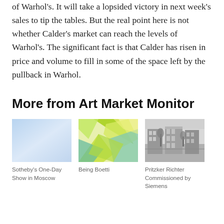of Warhol's. It will take a lopsided victory in next week's sales to tip the tables. But the real point here is not whether Calder's market can reach the levels of Warhol's. The significant fact is that Calder has risen in price and volume to fill in some of the space left by the pullback in Warhol.
More from Art Market Monitor
[Figure (photo): Light blue gradient image, thumbnail for Sotheby's One-Day Show in Moscow article]
Sotheby's One-Day Show in Moscow
[Figure (photo): Geometric colorful polygon art thumbnail for Being Boetti article]
Being Boetti
[Figure (photo): Black and white historic street scene thumbnail for Pritzker Richter Commissioned by Siemens article]
Pritzker Richter Commissioned by Siemens